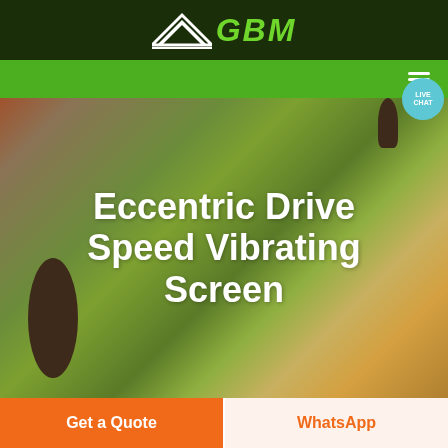GBM
[Figure (screenshot): GBM website header with dark green background, logo with angular arrow graphic and GBM text in green, navigation bar in lime green with hamburger menu and live chat bubble]
Eccentric Drive Speed Vibrating Screen
Get a Quote
WhatsApp